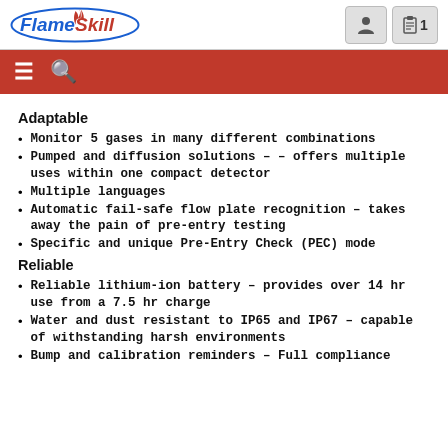FlameSkill
Adaptable
Monitor 5 gases in many different combinations
Pumped and diffusion solutions – – offers multiple uses within one compact detector
Multiple languages
Automatic fail-safe flow plate recognition – takes away the pain of pre-entry testing
Specific and unique Pre-Entry Check (PEC) mode
Reliable
Reliable lithium-ion battery – provides over 14 hr use from a 7.5 hr charge
Water and dust resistant to IP65 and IP67 – capable of withstanding harsh environments
Bump and calibration reminders – Full compliance